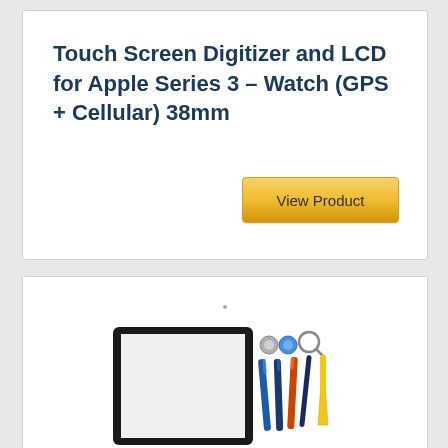Touch Screen Digitizer and LCD for Apple Series 3 – Watch (GPS + Cellular) 38mm
[Figure (photo): Product listing card with a 'View Product' button on golden/yellow background]
[Figure (photo): Product image showing a tablet/screen digitizer with repair tools (screwdrivers, pry tools) next to it on a white background]